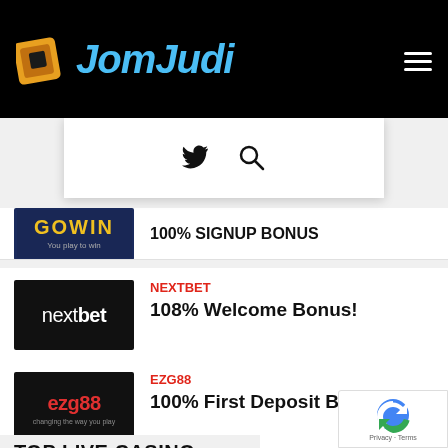[Figure (logo): JomJudi website header with logo on black background, hamburger menu icon]
[Figure (screenshot): White navigation bar with Twitter bird icon and search icon]
[Figure (logo): GOWIN logo - You play to win]
100% SIGNUP BONUS
NEXTBET
[Figure (logo): Nextbet logo on black background]
108% Welcome Bonus!
EZG88
[Figure (logo): EZG88 - changing the way you play logo on black background]
100% First Deposit Bonus
TOP LIVE CASINO